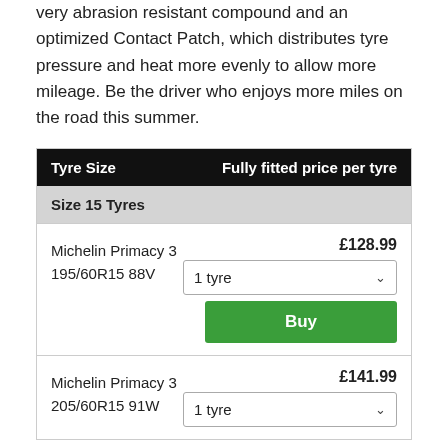very abrasion resistant compound and an optimized Contact Patch, which distributes tyre pressure and heat more evenly to allow more mileage. Be the driver who enjoys more miles on the road this summer.
| Tyre Size | Fully fitted price per tyre |
| --- | --- |
| Size 15 Tyres |  |
| Michelin Primacy 3
195/60R15 88V | £128.99 |
| Michelin Primacy 3
205/60R15 91W | £141.99 |